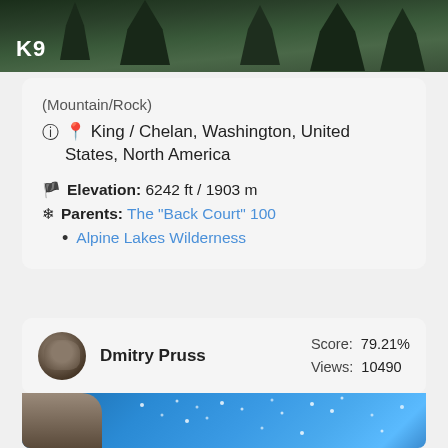[Figure (photo): Mountain/forest landscape banner with label K9]
(Mountain/Rock)
📍 King / Chelan, Washington, United States, North America
🚩 Elevation: 6242 ft / 1903 m
❄ Parents: The "Back Court" 100
• Alpine Lakes Wilderness
Dmitry Pruss  Score: 79.21%  Views: 10490
[Figure (photo): Blue sky outdoor photo with person and light dots/stars visible]